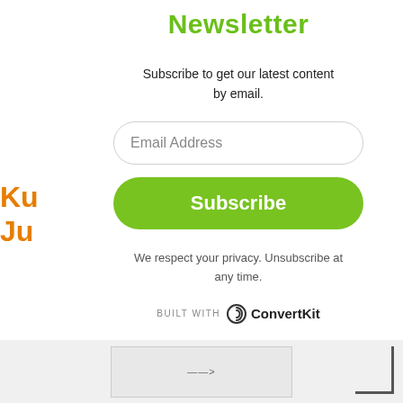Newsletter
Subscribe to get our latest content by email.
Email Address
Subscribe
We respect your privacy. Unsubscribe at any time.
BUILT WITH ConvertKit